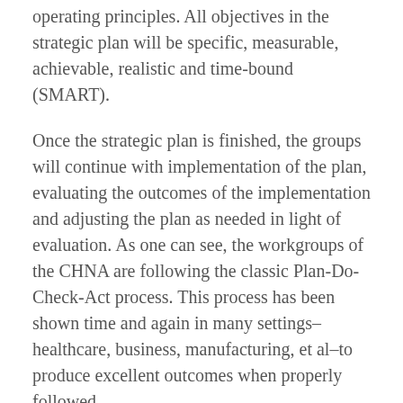operating principles. All objectives in the strategic plan will be specific, measurable, achievable, realistic and time-bound (SMART).
Once the strategic plan is finished, the groups will continue with implementation of the plan, evaluating the outcomes of the implementation and adjusting the plan as needed in light of evaluation. As one can see, the workgroups of the CHNA are following the classic Plan-Do-Check-Act process. This process has been shown time and again in many settings–healthcare, business, manufacturing, et al–to produce excellent outcomes when properly followed.
As noted above I recommend that healthcare providers become involved with community groups to apply population level health management strategies to improve the overall health of the community. One good area of involvement is the Community Health Needs